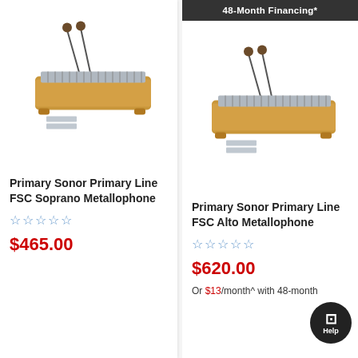[Figure (photo): Primary Sonor Primary Line FSC Soprano Metallophone instrument photo — wooden rectangular body with silver metal bars and two mallets]
Primary Sonor Primary Line FSC Soprano Metallophone
★☆☆☆☆ (star rating, 0 stars)
$465.00
48-Month Financing*
[Figure (photo): Primary Sonor Primary Line FSC Alto Metallophone instrument photo — wooden rectangular body with silver metal bars and two mallets]
Primary Sonor Primary Line FSC Alto Metallophone
★☆☆☆☆ (star rating, 0 stars)
$620.00
Or $13/month^ with 48-month